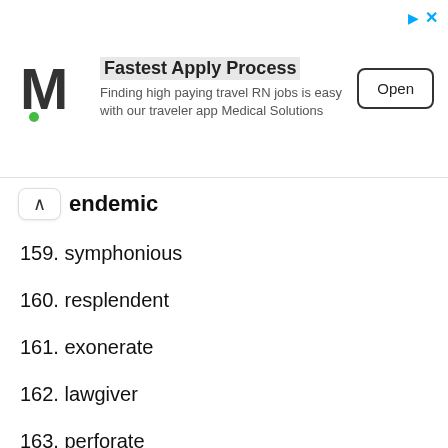[Figure (screenshot): Advertisement banner: Medical Solutions logo (M with green dot), 'Fastest Apply Process' headline, subtitle 'Finding high paying travel RN jobs is easy with our traveler app Medical Solutions', and an 'Open' button.]
endemic
159. symphonious
160. resplendent
161. exonerate
162. lawgiver
163. perforate
164. intercede
165. triumvir